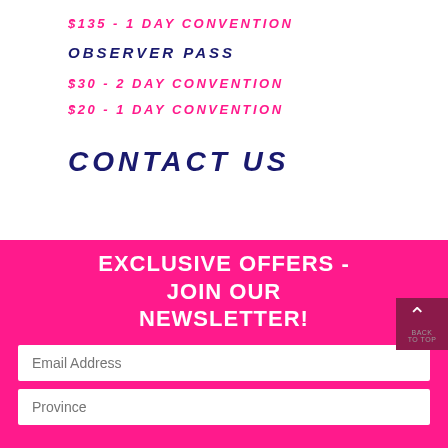$135 - 1 DAY CONVENTION
OBSERVER PASS
$30 - 2 DAY CONVENTION
$20 - 1 DAY CONVENTION
CONTACT US
EXCLUSIVE OFFERS - JOIN OUR NEWSLETTER!
Email Address
Province